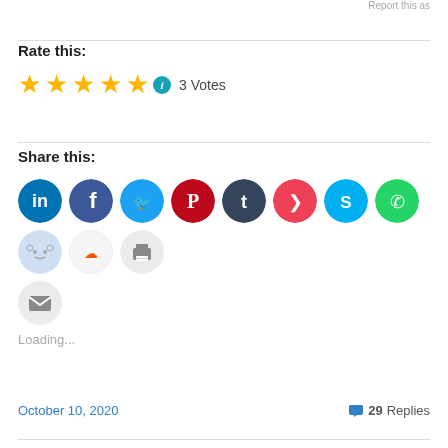Report this as
Rate this:
★★★★★ ℹ 3 Votes
Share this:
[Figure (infographic): Row of social media share icons: LinkedIn, Facebook, Twitter, Pinterest, Tumblr, Pocket, Skype, WhatsApp, Reddit, SoundCloud, Print, Email]
Loading...
October 10, 2020
💬 29 Replies